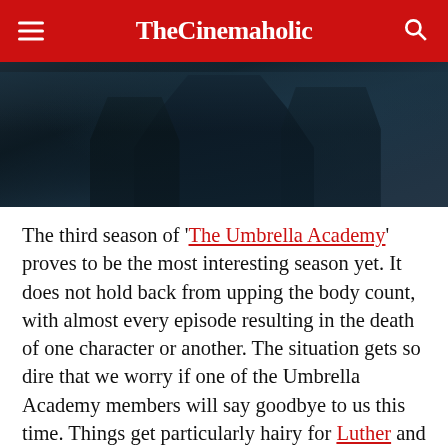TheCinemaholic
[Figure (photo): Dark moody still from The Umbrella Academy season 3, featuring a shadowy figure in dark clothing against a dark background]
The third season of 'The Umbrella Academy' proves to be the most interesting season yet. It does not hold back from upping the body count, with almost every episode resulting in the death of one character or another. The situation gets so dire that we worry if one of the Umbrella Academy members will say goodbye to us this time. Things get particularly hairy for Luther and Klaus who